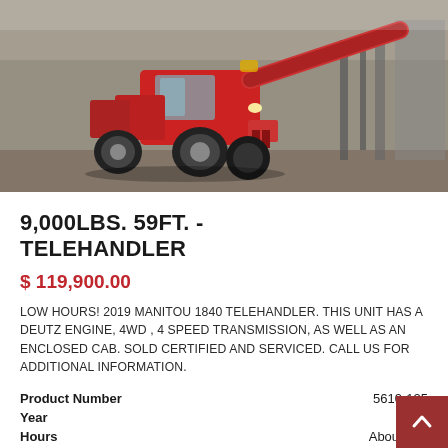[Figure (photo): Red Manitou 1840 telehandler machine photographed from the side/front in an industrial yard setting]
9,000LBS. 59FT. - TELEHANDLER
$ 119,900.00
LOW HOURS! 2019 MANITOU 1840 TELEHANDLER. THIS UNIT HAS A DEUTZ ENGINE, 4WD , 4 SPEED TRANSMISSION, AS WELL AS AN ENCLOSED CAB. SOLD CERTIFIED AND SERVICED. CALL US FOR ADDITIONAL INFORMATION.
| Product Number | 5610-125 |
| Year | 2019 |
| Hours | About 938 |